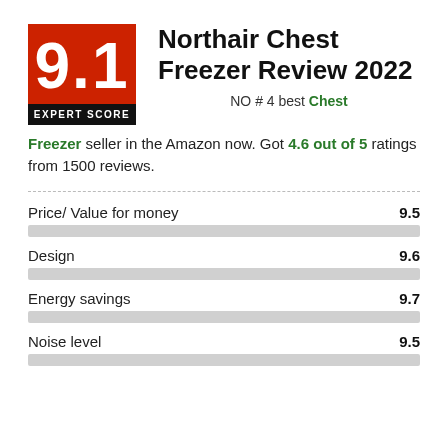[Figure (infographic): Red square badge with score 9.1 in white and black bar labeled EXPERT SCORE]
Northair Chest Freezer Review 2022
NO # 4 best Chest Freezer seller in the Amazon now. Got 4.6 out of 5 ratings from 1500 reviews.
Price/ Value for money
Design
Energy savings
Noise level